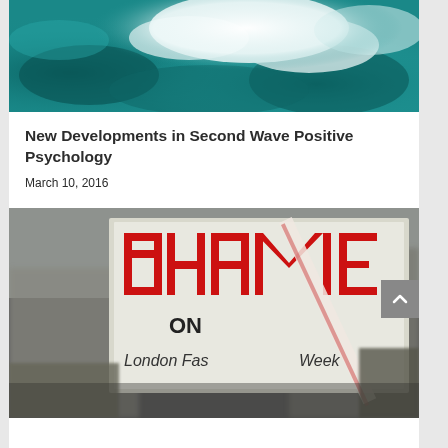[Figure (photo): Aerial view of ocean waves with teal water and white foam/clouds]
New Developments in Second Wave Positive Psychology
March 10, 2016
[Figure (photo): Protest sign reading 'SHAME ON London Fashion Week' held at a demonstration]